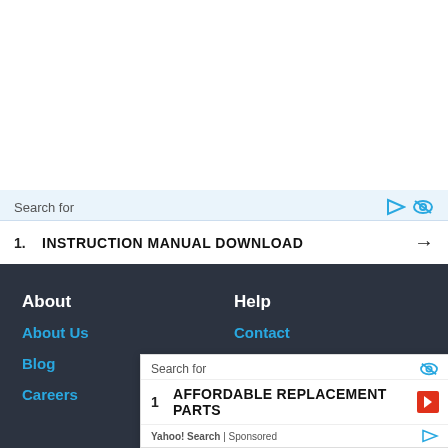Search for
1. INSTRUCTION MANUAL DOWNLOAD →
About
About Us
Blog
Careers
Help
Contact
Privacy Policy
Terms
Community
Forum
Recent
Search for
1 AFFORDABLE REPLACEMENT PARTS ▶
Yahoo! Search | Sponsored